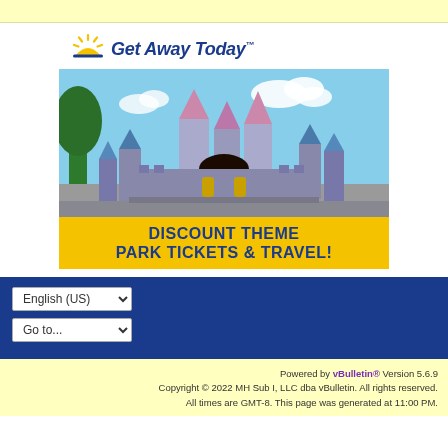[Figure (illustration): Get Away Today advertisement banner featuring Sleeping Beauty Castle at Disneyland with text 'DISCOUNT THEME PARK TICKETS & TRAVEL!' on a yellow banner, and the Get Away Today logo with sun graphic above.]
English (US)
Go to...
Powered by vBulletin® Version 5.6.9
Copyright © 2022 MH Sub I, LLC dba vBulletin. All rights reserved.
All times are GMT-8. This page was generated at 11:00 PM.